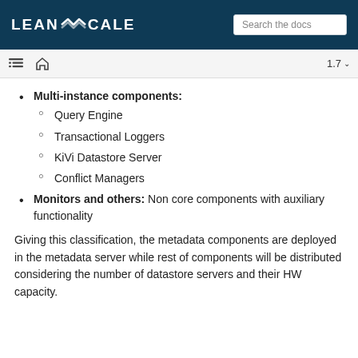LEANXCALE   Search the docs
Multi-instance components:
Query Engine
Transactional Loggers
KiVi Datastore Server
Conflict Managers
Monitors and others: Non core components with auxiliary functionality
Giving this classification, the metadata components are deployed in the metadata server while rest of components will be distributed considering the number of datastore servers and their HW capacity.